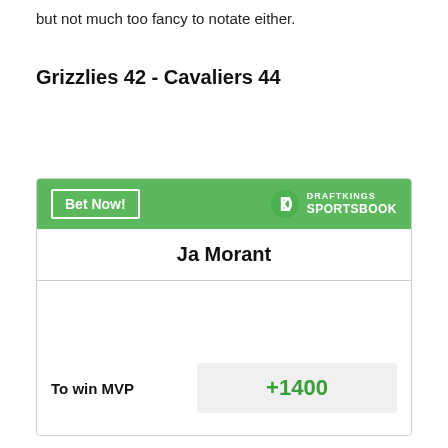but not much too fancy to notate either.
Grizzlies 42 - Cavaliers 44
[Figure (other): DraftKings Sportsbook widget showing Ja Morant To win MVP odds of +1400, with a green header containing a Bet Now! button and the DraftKings Sportsbook logo.]